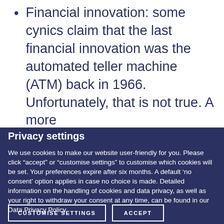Financial innovation: some cynics claim that the last financial innovation was the automated teller machine (ATM) back in 1966. Unfortunately, that is not true. A more
recent example is the subprime crisis: US banks were incredibly innovative in securitising their mortgage books. With well-
Privacy settings
We use cookies to make our website user-friendly for you. Please click "accept" or "customise settings" to customise which cookies will be set. Your preferences expire after six months. A default 'no consent' option applies in case no choice is made. Detailed information on the handling of cookies and data privacy, as well as your right to withdraw your consent at any time, can be found in our Data Privacy Policy.
Housing booms: after... the US example,
Financial liberalisation: for instance during the Reagan era, when the government massively reduced financial regulation. To claim that the 1987 crash was the result of